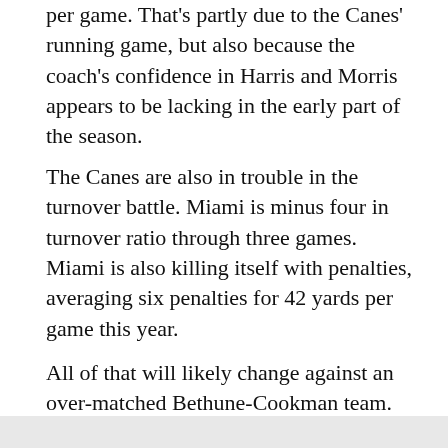per game. That's partly due to the Canes' running game, but also because the coach's confidence in Harris and Morris appears to be lacking in the early part of the season.
The Canes are also in trouble in the turnover battle. Miami is minus four in turnover ratio through three games. Miami is also killing itself with penalties, averaging six penalties for 42 yards per game this year.
All of that will likely change against an over-matched Bethune-Cookman team. The Wildcats, of the Mid-Eastern Athletic Conference, are 2-1 on the young season, but the victories have come against Hampton and Prairie View A&M.